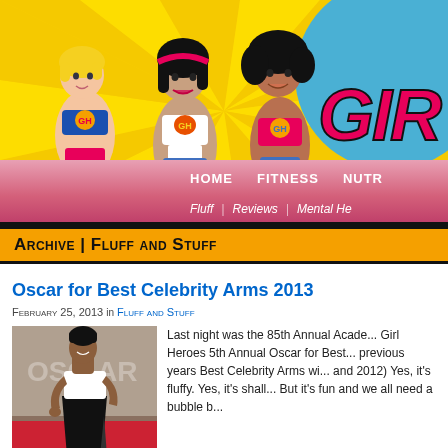[Figure (illustration): Cartoon illustration of three athletic women in workout clothes on a yellow sunburst background, with 'GIR' logo (partially visible) in the top right corner on a blue circle]
HOME   FITNESS   NUTR
Fluff | Reviews | Mental He
Archive | Fluff and Stuff
Oscar for Best Celebrity Arms 2013
February 25, 2013 in Fluff and Stuff
[Figure (photo): Photo of a celebrity in a white strapless top and black skirt at what appears to be the Oscars red carpet]
Last night was the 85th Annual Acade... Girl Heroes 5th Annual Oscar for Best... previous years Best Celebrity Arms wi... and 2012) Yes, it's fluffy. Yes, it's shall... But it's fun and we all need a bubble b...